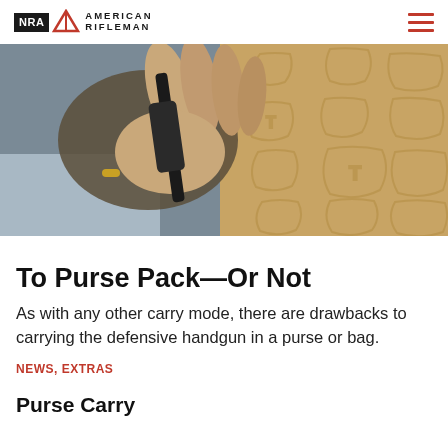NRA AMERICAN RIFLEMAN
[Figure (photo): Close-up of a hand gripping a dark handgun next to tan leather with embossed triangle T patterns]
To Purse Pack—Or Not
As with any other carry mode, there are drawbacks to carrying the defensive handgun in a purse or bag.
NEWS, EXTRAS
Purse Carry